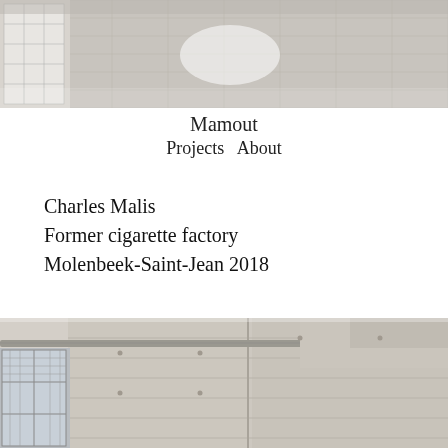[Figure (photo): Top portion of a photo showing a tiled floor interior space with grey stone/mosaic tiles, a wall with grid windows on the left, viewed from above at an angle. Light colored walls and a bright spot on the floor.]
Mamout
Projects   About
Charles Malis
Former cigarette factory
Molenbeek-Saint-Jean 2018
[Figure (photo): Bottom portion of a photo showing the exterior of a concrete building with large grid-patterned windows, exposed concrete wall panels with visible formwork marks, metal pipe/railing along the top, and industrial architectural details.]